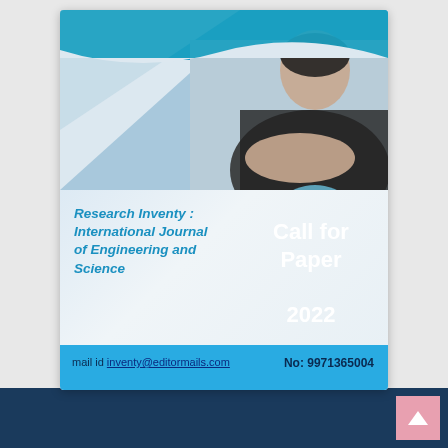[Figure (illustration): Journal call-for-paper promotional card showing a professional in a suit with arms crossed in a blue-toned photo background, two light blue circles and one dark navy circle overlapping with 'Call for Paper 2022' text, journal title on the left, and a cyan footer bar with mail and phone contact details.]
Research Inventy : International Journal of Engineering and Science
Call for Paper 2022
mail id inventy@editormails.com   No: 9971365004